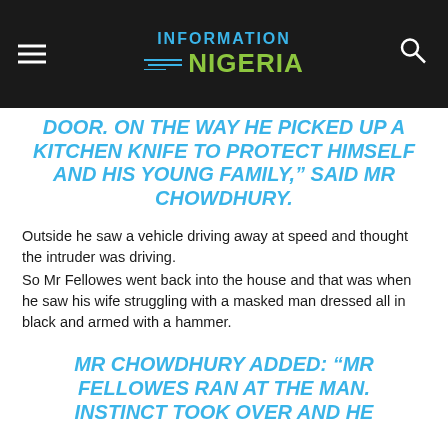INFORMATION NIGERIA
DOOR. ON THE WAY HE PICKED UP A KITCHEN KNIFE TO PROTECT HIMSELF AND HIS YOUNG FAMILY,” SAID MR CHOWDHURY.
Outside he saw a vehicle driving away at speed and thought the intruder was driving.
So Mr Fellowes went back into the house and that was when he saw his wife struggling with a masked man dressed all in black and armed with a hammer.
MR CHOWDHURY ADDED: “MR FELLOWES RAN AT THE MAN. INSTINCT TOOK OVER AND HE